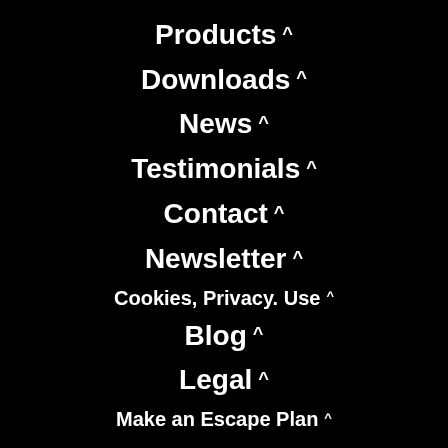Products ^
Downloads ^
News ^
Testimonials ^
Contact ^
Newsletter ^
Cookies, Privacy. Use ^
Blog ^
Legal ^
Make an Escape Plan ^